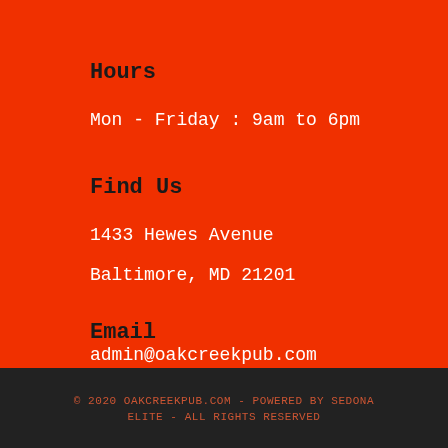Hours
Mon - Friday : 9am to 6pm
Find Us
1433 Hewes Avenue
Baltimore, MD 21201
Email
admin@oakcreekpub.com
© 2020 OAKCREEKPUB.COM - POWERED BY SEDONA ELITE - ALL RIGHTS RESERVED